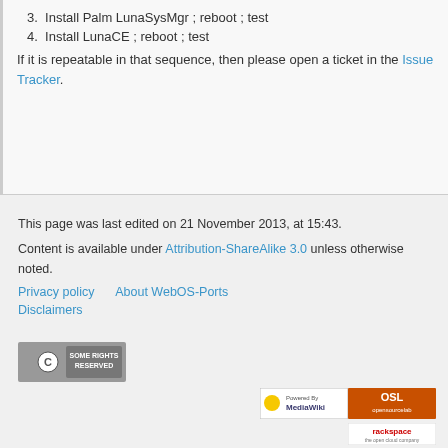3. Install Palm LunaSysMgr ; reboot ; test
4. Install LunaCE ; reboot ; test
If it is repeatable in that sequence, then please open a ticket in the Issue Tracker.
This page was last edited on 21 November 2013, at 15:43.
Content is available under Attribution-ShareAlike 3.0 unless otherwise noted.
Privacy policy   About WebOS-Ports
Disclaimers
[Figure (logo): Creative Commons Some Rights Reserved badge]
[Figure (logo): Powered by MediaWiki badge]
[Figure (logo): OSL opensourcelab badge]
[Figure (logo): Rackspace the open cloud company badge]